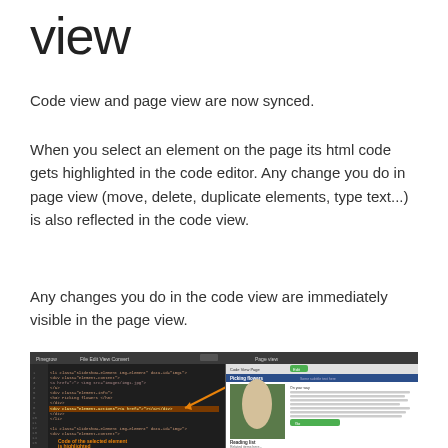view
Code view and page view are now synced.
When you select an element on the page its html code gets highlighted in the code editor. Any change you do in page view (move, delete, duplicate elements, type text...) is also reflected in the code view.
Any changes you do in the code view are immediately visible in the page view.
[Figure (screenshot): Screenshot of a web editor showing split code view and page view. The code editor on the left shows HTML with highlighted code in orange, and an orange arrow points to highlighted code. The page view on the right shows a webpage titled 'Picking flowers'. An orange label at the bottom reads 'Code of the selected element is highlighted'.]